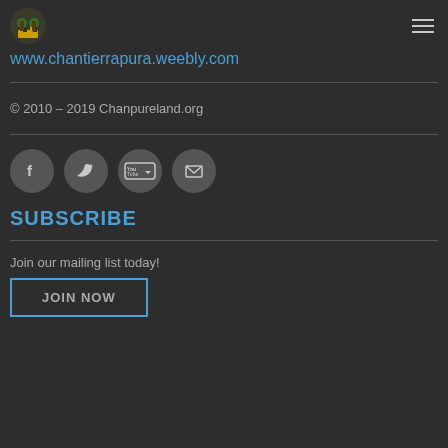www.chantierrapura.weebly.com
© 2010 – 2019 Chanpureland.org
[Figure (illustration): Social media icons: Facebook, Twitter, YouTube, Email]
SUBSCRIBE
Join our mailing list today!
JOIN NOW